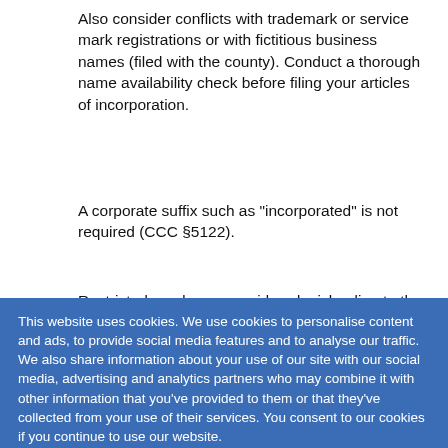Also consider conflicts with trademark or service mark registrations or with fictitious business names (filed with the county). Conduct a thorough name availability check before filing your articles of incorporation.
A corporate suffix such as "incorporated" is not required (CCC §5122).
Restricted words are considered misleading to the public if they do not accurately represent the business, such as "department", "agency", "assurance", and "surety". A nonprofit mutual benefit corporation may not use the words "Charitable Foundation" or "Foundation" at the end of the name or immediately preceding the corporate suffix.
This website uses cookies. We use cookies to personalise content and ads, to provide social media features and to analyse our traffic. We also share information about your use of our site with our social media, advertising and analytics partners who may combine it with other information that you've provided to them or that they've collected from your use of their services. You consent to our cookies if you continue to use our website.
ment of corporate purpose is required. California permits and encourages a general declaration that the